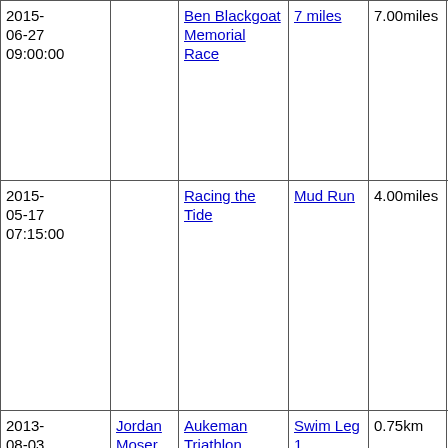| Date | Athlete | Race | Leg | Distance | Time | Pace |
| --- | --- | --- | --- | --- | --- | --- |
| 2015-06-27 09:00:00 |  | Ben Blackgoat Memorial Race | 7 miles | 7.00miles | 00:56:07 | mi... |
| 2015-05-17 07:15:00 |  | Racing the Tide | Mud Run | 4.00miles | 00:41:27 | 10 mi 21 se pe mi |
| 2013-08-03 08:00:00 | Jordan Moser | Aukeman Triathlon | Swim Leg 1 | 0.75km | 00:13:41 | 29 mi 6 se pe mi |
| 2013-08-03 08:00:00 |  | Aukeman Triathlon | Swim Bike Run Final | 24.75km | 01:17:32 | 5 mi 2 se pe mi |
|  |  |  |  |  |  | 6 |